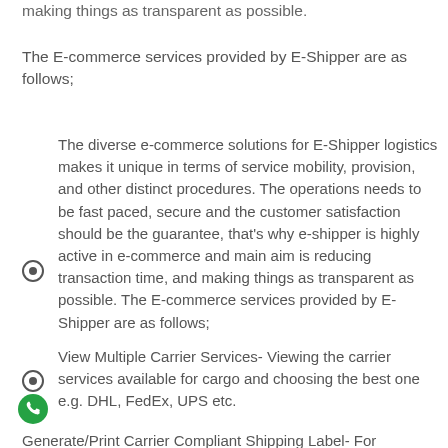making things as transparent as possible.
The E-commerce services provided by E-Shipper are as follows;
The diverse e-commerce solutions for E-Shipper logistics makes it unique in terms of service mobility, provision, and other distinct procedures. The operations needs to be fast paced, secure and the customer satisfaction should be the guarantee, that's why e-shipper is highly active in e-commerce and main aim is reducing transaction time, and making things as transparent as possible. The E-commerce services provided by E-Shipper are as follows;
View Multiple Carrier Services- Viewing the carrier services available for cargo and choosing the best one e.g. DHL, FedEx, UPS etc.
Generate/Print Carrier Compliant Shipping Label- For